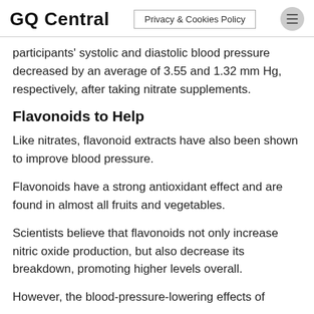GQ Central | Privacy & Cookies Policy
participants' systolic and diastolic blood pressure decreased by an average of 3.55 and 1.32 mm Hg, respectively, after taking nitrate supplements.
Flavonoids to Help
Like nitrates, flavonoid extracts have also been shown to improve blood pressure.
Flavonoids have a strong antioxidant effect and are found in almost all fruits and vegetables.
Scientists believe that flavonoids not only increase nitric oxide production, but also decrease its breakdown, promoting higher levels overall.
However, the blood-pressure-lowering effects of